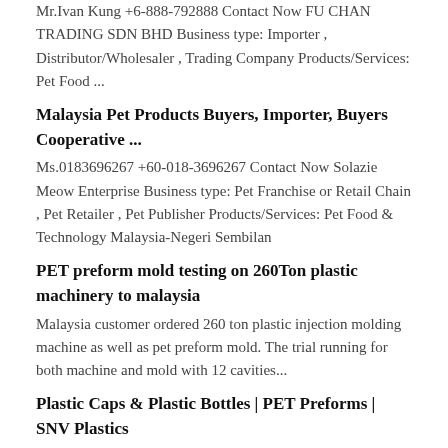Mr.Ivan Kung +6-888-792888 Contact Now FU CHAN TRADING SDN BHD Business type: Importer , Distributor/Wholesaler , Trading Company Products/Services: Pet Food ...
Malaysia Pet Products Buyers, Importer, Buyers Cooperative ...
Ms.0183696267 +60-018-3696267 Contact Now Solazie Meow Enterprise Business type: Pet Franchise or Retail Chain , Pet Retailer , Pet Publisher Products/Services: Pet Food & Technology Malaysia-Negeri Sembilan
PET preform mold testing on 260Ton plastic machinery to malaysia
Malaysia customer ordered 260 ton plastic injection molding machine as well as pet preform mold. The trial running for both machine and mold with 12 cavities...
Plastic Caps & Plastic Bottles | PET Preforms | SNV Plastics